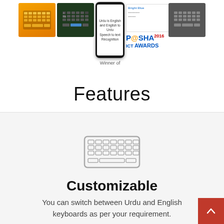[Figure (screenshot): Row of app screenshots and a center smartphone showing Urdu is English and English to Urdu Speech to text Recognition, with Winner of label and PASHA ICT AWARDS 2016 badge]
Features
[Figure (illustration): Keyboard icon illustration in gray outline style]
Customizable
You can switch between Urdu and English keyboards as per your requirement.